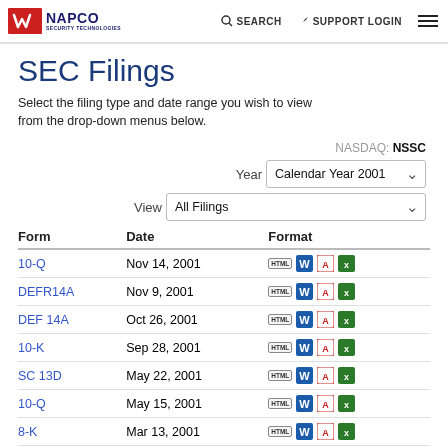NAPCO SECURITY TECHNOLOGIES | SEARCH | SUPPORT LOGIN
SEC Filings
Select the filing type and date range you wish to view from the drop-down menus below.
NASDAQ: NSSC
Year: Calendar Year 2001
View: All Filings
| Form | Date | Format |
| --- | --- | --- |
| 10-Q | Nov 14, 2001 | HTML W PDF XLS |
| DEFR14A | Nov 9, 2001 | HTML W PDF XLS |
| DEF 14A | Oct 26, 2001 | HTML W PDF XLS |
| 10-K | Sep 28, 2001 | HTML W PDF XLS |
| SC 13D | May 22, 2001 | HTML W PDF XLS |
| 10-Q | May 15, 2001 | HTML W PDF XLS |
| 8-K | Mar 13, 2001 | HTML W PDF XLS |
| 10-Q | Feb 14, 2001 | HTML W PDF XLS |
| SC 13G | Feb 2, 2001 | HTML W PDF XLS |